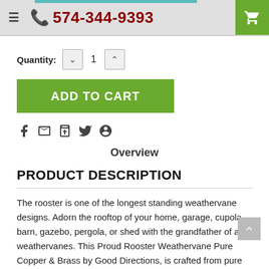574-344-9393
Quantity: 1
ADD TO CART
Overview
PRODUCT DESCRIPTION
The rooster is one of the longest standing weathervane designs. Adorn the rooftop of your home, garage, cupola, barn, gazebo, pergola, or shed with the grandfather of all weathervanes. This Proud Rooster Weathervane Pure Copper & Brass by Good Directions, is crafted from pure copper and designed with brass accents, presenting a visually striking contrast. Admire the beauty of this weathervane as